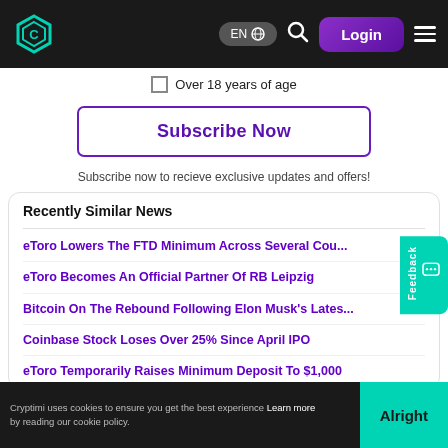EN | Login
Over 18 years of age
Subscribe Now
Subscribe now to recieve exclusive updates and offers!
Recently Similar News
eToro Lowers The FTD Minimum Across Several Cou...
eToro Becomes An Official Partner Of RB Leipzig
Bitcoin On The Rebound Following Elon Musk's Lates...
Coinbase Stock Loses Over 25% Since April IPO
eToro Temporarily Raises Minimum Deposit To $1,000
Cryptimi uses cookies to ensure you get the best experience. Learn more by reading our cookie policy. | Alright